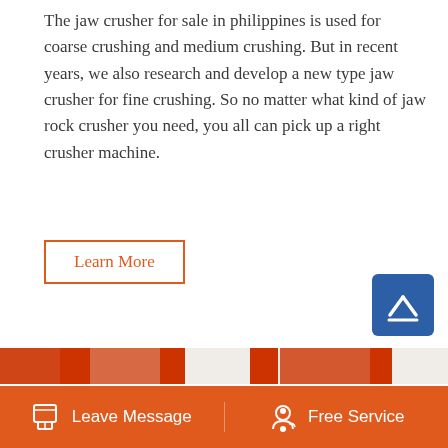The jaw crusher for sale in philippines is used for coarse crushing and medium crushing. But in recent years, we also research and develop a new type jaw crusher for fine crushing. So no matter what kind of jaw rock crusher you need, you all can pick up a right crusher machine.
Learn More
[Figure (photo): Multiple jaw crusher machines with red and white flywheel mechanisms displayed side by side]
Leave Message
Free Service